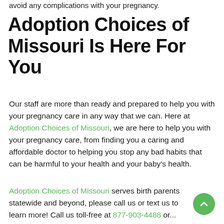avoid any complications with your pregnancy.
Adoption Choices of Missouri Is Here For You
Our staff are more than ready and prepared to help you with your pregnancy care in any way that we can. Here at Adoption Choices of Missouri, we are here to help you with your pregnancy care, from finding you a caring and affordable doctor to helping you stop any bad habits that can be harmful to your health and your baby’s health.
Adoption Choices of Missouri serves birth parents statewide and beyond, please call us or text us to learn more! Call us toll-free at 877-903-4488 or...